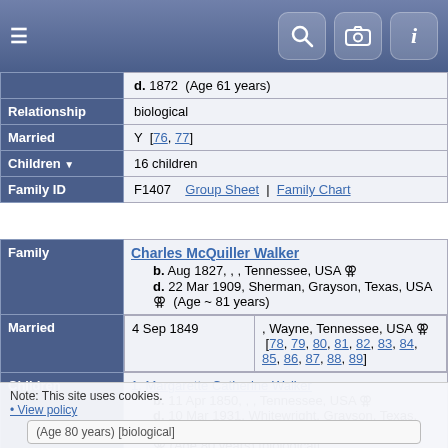Navigation bar with hamburger menu and search/camera/info icons
|  | d. 1872  (Age 61 years) |
| Relationship | biological |
| Married | Y  [76, 77] |
| Children | 16 children |
| Family ID | F1407    Group Sheet  |  Family Chart |
| Family | Charles McQuiller Walker
b. Aug 1827, , , Tennessee, USA
d. 22 Mar 1909, Sherman, Grayson, Texas, USA  (Age ~ 81 years) |
| Married | 4 Sep 1849    , Wayne, Tennessee, USA  [78, 79, 80, 81, 82, 83, 84, 85, 86, 87, 88, 89] |
| Children | 1. Margarette Catherine Walker
b. 11 Apr 1850, , , Tennessee, USA
d. 10 Mar 1931, Whitewright, Grayson, Texas, USA
(Age 80 years) [biological]
2. Eliphaz (Eli) Walker |
Note: This site uses cookies.
• View policy
(Age 80 years) [biological]